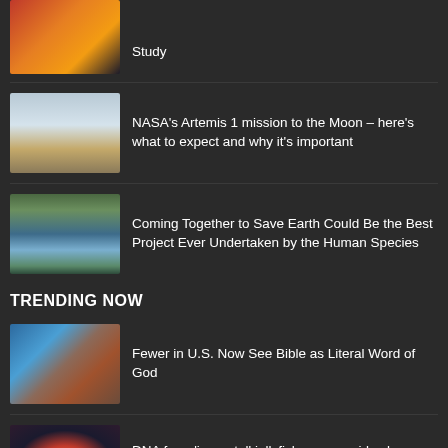[Figure (photo): Partial thumbnail of planet/heat map image (partially cut off at top)]
Study
[Figure (photo): Rocket launch image with sky background]
NASA's Artemis 1 mission to the Moon – here's what to expect and why it's important
[Figure (photo): Mountain lake landscape with person on dock]
Coming Together to Save Earth Could Be the Best Project Ever Undertaken by the Human Species
TRENDING NOW
[Figure (photo): Person holding a Bible book]
Fewer in U.S. Now See Bible as Literal Word of God
[Figure (photo): Jellyfish close-up image]
DNA from 'immortal' jellyfish may provide clues on human ageing, research finds